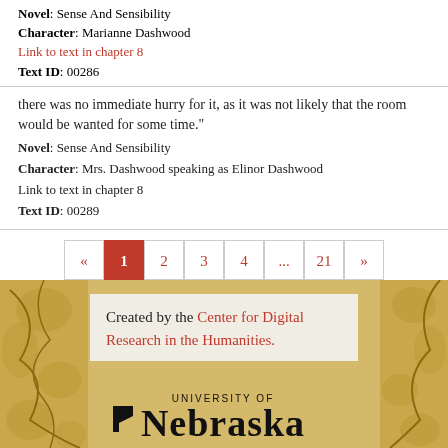Novel: Sense And Sensibility
Character: Marianne Dashwood
Link to text in chapter 8
Text ID: 00286
there was no immediate hurry for it, as it was not likely that the room would be wanted for some time."
Novel: Sense And Sensibility
Character: Mrs. Dashwood speaking as Elinor Dashwood
Link to text in chapter 8
Text ID: 00289
[Figure (other): Pagination bar with links: «, 1 (active/current), 2, 3, 4, ..., 21, »]
[Figure (infographic): Footer banner with decorative gold floral border. Contains text: 'Created by the Center for Digital Research in the Humanities.' and University of Nebraska logo.]